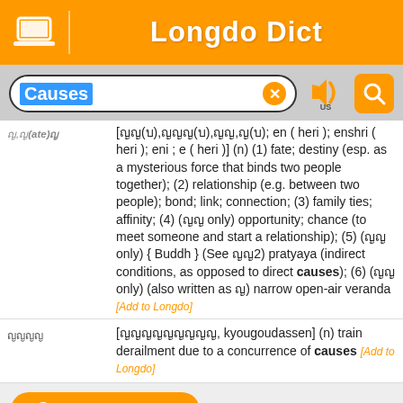Longdo Dict
Causes (search box)
[ยุ(บ),ยุย(บ),ยุ,ย(บ); en ( heri ); enshri ( heri ); eni ; e ( heri )] (n) (1) fate; destiny (esp. as a mysterious force that binds two people together); (2) relationship (e.g. between two people); bond; link; connection; (3) family ties; affinity; (4) (พุ only) opportunity; chance (to meet someone and start a relationship); (5) (พุ only) { Buddh } (See ปัจ2) pratyaya (indirect conditions, as opposed to direct causes); (6) (พุ only) (also written as ป) narrow open-air veranda [Add to Longdo]
คนเก่า [きょうごうだっせん, kyougoudassen] (n) train derailment due to a concurrence of causes [Add to Longdo]